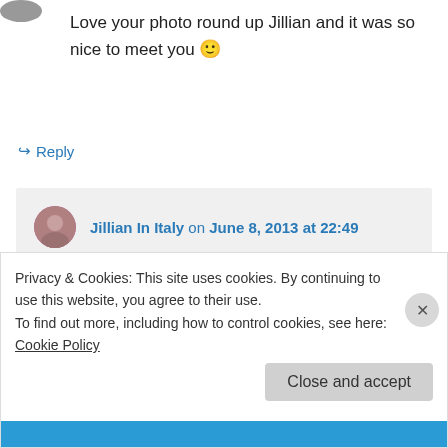Love your photo round up Jillian and it was so nice to meet you 🙂
↪ Reply
Jillian In Italy on June 8, 2013 at 22:49
You too!
↪ Reply
Privacy & Cookies: This site uses cookies. By continuing to use this website, you agree to their use.
To find out more, including how to control cookies, see here: Cookie Policy